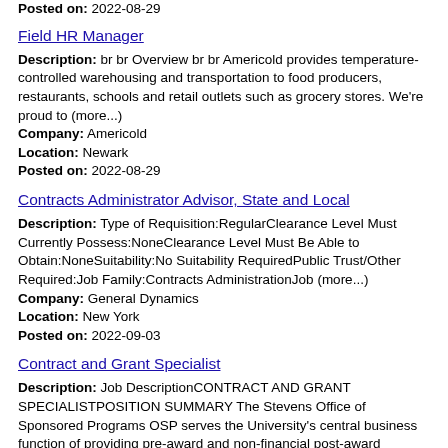Posted on: 2022-08-29
Field HR Manager
Description: br br Overview br br Americold provides temperature-controlled warehousing and transportation to food producers, restaurants, schools and retail outlets such as grocery stores. We're proud to (more...)
Company: Americold
Location: Newark
Posted on: 2022-08-29
Contracts Administrator Advisor, State and Local
Description: Type of Requisition:RegularClearance Level Must Currently Possess:NoneClearance Level Must Be Able to Obtain:NoneSuitability:No Suitability RequiredPublic Trust/Other Required:Job Family:Contracts AdministrationJob (more...)
Company: General Dynamics
Location: New York
Posted on: 2022-09-03
Contract and Grant Specialist
Description: Job DescriptionCONTRACT AND GRANT SPECIALISTPOSITION SUMMARY The Stevens Office of Sponsored Programs OSP serves the University's central business function of providing pre-award and non-financial post-award (more...)
Company: Stevens Institute of Technology, The Innovation Un
Location: Hoboken